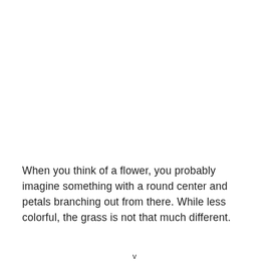When you think of a flower, you probably imagine something with a round center and petals branching out from there. While less colorful, the grass is not that much different.
v